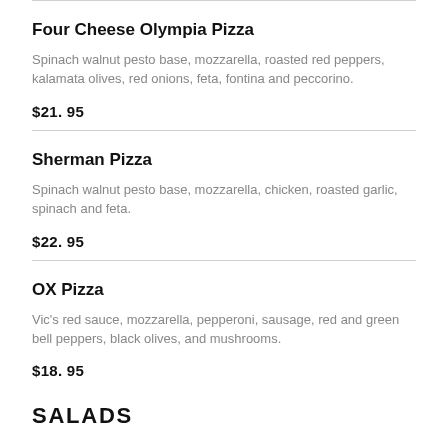Four Cheese Olympia Pizza
Spinach walnut pesto base, mozzarella, roasted red peppers, kalamata olives, red onions, feta, fontina and peccorino.
$21.95
Sherman Pizza
Spinach walnut pesto base, mozzarella, chicken, roasted garlic, spinach and feta.
$22.95
OX Pizza
Vic's red sauce, mozzarella, pepperoni, sausage, red and green bell peppers, black olives, and mushrooms.
$18.95
SALADS